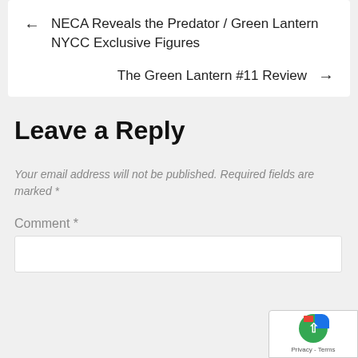← NECA Reveals the Predator / Green Lantern NYCC Exclusive Figures
The Green Lantern #11 Review →
Leave a Reply
Your email address will not be published. Required fields are marked *
Comment *